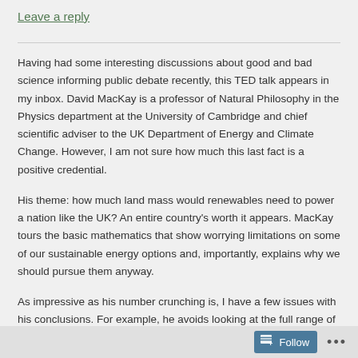Leave a reply
Having had some interesting discussions about good and bad science informing public debate recently, this TED talk appears in my inbox. David MacKay is a professor of Natural Philosophy in the Physics department at the University of Cambridge and chief scientific adviser to the UK Department of Energy and Climate Change. However, I am not sure how much this last fact is a positive credential.
His theme: how much land mass would renewables need to power a nation like the UK? An entire country’s worth it appears. MacKay tours the basic mathematics that show worrying limitations on some of our sustainable energy options and, importantly, explains why we should pursue them anyway.
As impressive as his number crunching is, I have a few issues with his conclusions. For example, he avoids looking at the full range of